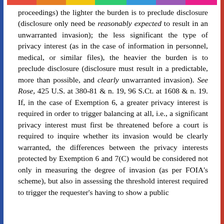proceedings) the lighter the burden is to preclude disclosure (disclosure only need be reasonably expected to result in an unwarranted invasion); the less significant the type of privacy interest (as in the case of information in personnel, medical, or similar files), the heavier the burden is to preclude disclosure (disclosure must result in a predictable, more than possible, and clearly unwarranted invasion). See Rose, 425 U.S. at 380-81 & n. 19, 96 S.Ct. at 1608 & n. 19. If, in the case of Exemption 6, a greater privacy interest is required in order to trigger balancing at all, i.e., a significant privacy interest must first be threatened before a court is required to inquire whether its invasion would be clearly warranted, the differences between the privacy interests protected by Exemption 6 and 7(C) would be considered not only in measuring the degree of invasion (as per FOIA's scheme), but also in assessing the threshold interest required to trigger the requester's having to show a public